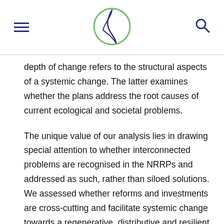[hamburger menu] [logo] [search icon]
depth of change refers to the structural aspects of a systemic change. The latter examines whether the plans address the root causes of current ecological and societal problems.
The unique value of our analysis lies in drawing special attention to whether interconnected problems are recognised in the NRRPs and addressed as such, rather than siloed solutions. We assessed whether reforms and investments are cross-cutting and facilitate systemic change towards a regenerative, distributive and resilient economy, rather than stabilising the status quo. Our assessment through the RITC shows that while each of the 13 NRRPs has its strengths and weaknesses, overall none fulfill all the criteria needed for delivering the kind of deep transformation needed for Europe to thrive. The assessment of the NRRPs through the RITC